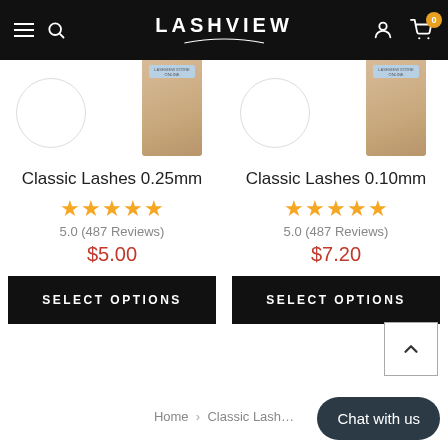LASHVIEW
[Figure (screenshot): Partially visible product images for Classic Lashes 0.25mm and Classic Lashes 0.10mm, showing circle backgrounds and kraft packaging]
Classic Lashes 0.25mm
5.0 (487 Reviews)
$5.00
SELECT OPTIONS
Classic Lashes 0.10mm
5.0 (487 Reviews)
$7.20
SELECT OPTIONS
Home > Classic Lash…
Chat with us